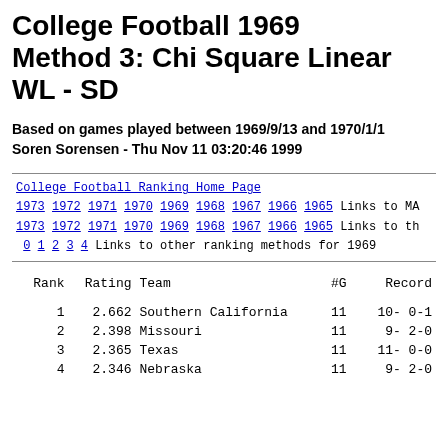College Football 1969 Method 3: Chi Square Linear WL - SD
Based on games played between 1969/9/13 and 1970/1/1
Soren Sorensen - Thu Nov 11 03:20:46 1999
College Football Ranking Home Page
1973 1972 1971 1970 1969 1968 1967 1966 1965 Links to MA
1973 1972 1971 1970 1969 1968 1967 1966 1965 Links to th
0 1 2 3 4 Links to other ranking methods for 1969
| Rank | Rating | Team | #G | Record |
| --- | --- | --- | --- | --- |
| 1 | 2.662 | Southern California | 11 | 10- 0-1 |
| 2 | 2.398 | Missouri | 11 | 9- 2-0 |
| 3 | 2.365 | Texas | 11 | 11- 0-0 |
| 4 | 2.346 | Nebraska | 11 | 9- 2-0 |